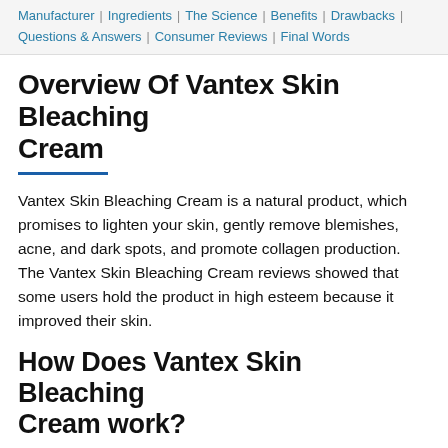Manufacturer | Ingredients | The Science | Benefits | Drawbacks | Questions & Answers | Consumer Reviews | Final Words
Overview Of Vantex Skin Bleaching Cream
Vantex Skin Bleaching Cream is a natural product, which promises to lighten your skin, gently remove blemishes, acne, and dark spots, and promote collagen production. The Vantex Skin Bleaching Cream reviews showed that some users hold the product in high esteem because it improved their skin.
How Does Vantex Skin Bleaching Cream work?